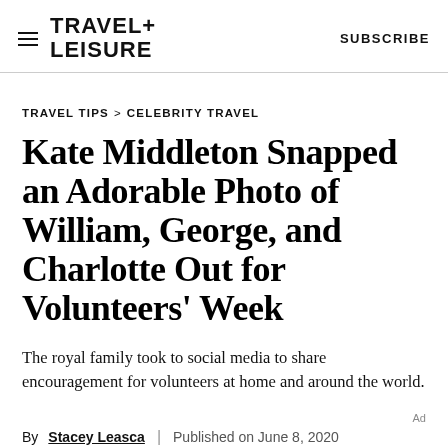TRAVEL+ LEISURE  |  SUBSCRIBE
TRAVEL TIPS > CELEBRITY TRAVEL
Kate Middleton Snapped an Adorable Photo of William, George, and Charlotte Out for Volunteers' Week
The royal family took to social media to share encouragement for volunteers at home and around the world.
By Stacey Leasca | Published on June 8, 2020